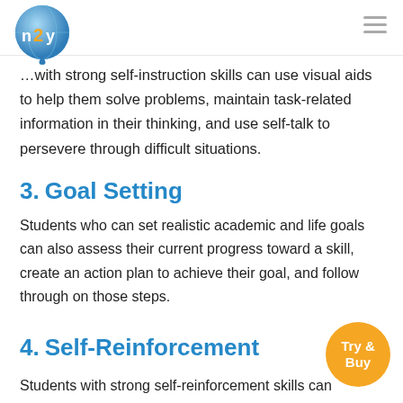n2y
with strong self-instruction skills can use visual aids to help them solve problems, maintain task-related information in their thinking, and use self-talk to persevere through difficult situations.
3. Goal Setting
Students who can set realistic academic and life goals can also assess their current progress toward a skill, create an action plan to achieve their goal, and follow through on those steps.
4. Self-Reinforcement
Students with strong self-reinforcement skills can